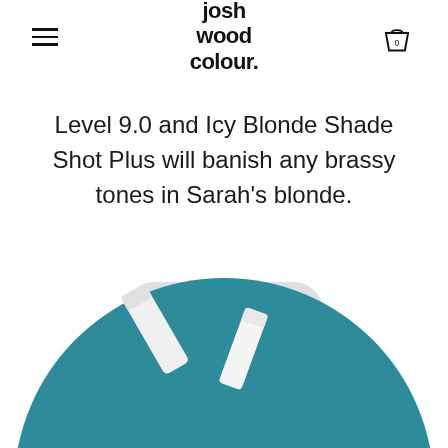josh wood colour.
Level 9.0 and Icy Blonde Shade Shot Plus will banish any brassy tones in Sarah's blonde.
Buy Now
[Figure (photo): A teal/blue circle with two white product tubes (hair colour products) photographed from above on the teal background, partially cropped at the bottom of the page.]